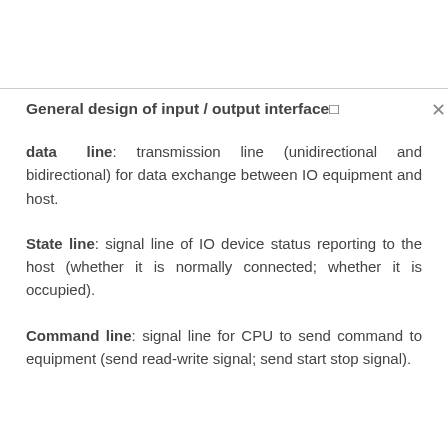General design of input / output interface□
data line: transmission line (unidirectional and bidirectional) for data exchange between IO equipment and host.
State line: signal line of IO device status reporting to the host (whether it is normally connected; whether it is occupied).
Command line: signal line for CPU to send command to equipment (send read-write signal; send start stop signal).